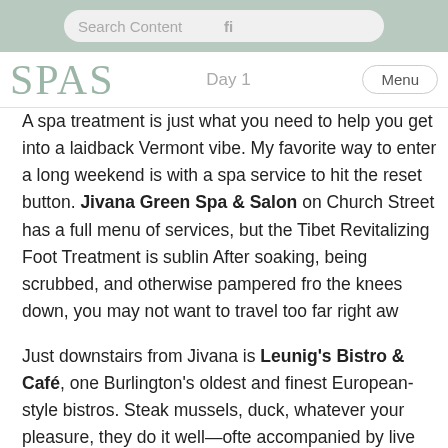Search Content
SPAS  Day 1  Menu
A spa treatment is just what you need to help you get into a laidback Vermont vibe. My favorite way to enter a long weekend is with a spa service to hit the reset button. Jivana Green Spa & Salon on Church Street has a full menu of services, but the Tibet Revitalizing Foot Treatment is sublime. After soaking, being scrubbed, and otherwise pampered from the knees down, you may not want to travel too far right away.
Just downstairs from Jivana is Leunig's Bistro & Café, one of Burlington's oldest and finest European-style bistros. Steak, mussels, duck, whatever your pleasure, they do it well—often accompanied by live jazz and delicious cocktails. After dinner, a stroll down to the waterfront to watch the sunset is a must. For those unfamiliar, you will be watching the sunset over t